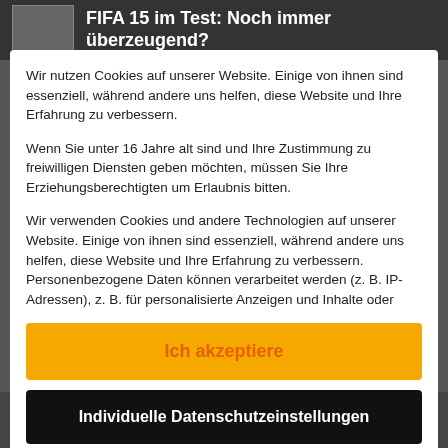FIFA 15 im Test: Noch immer überzeugend?
Wir nutzen Cookies auf unserer Website. Einige von ihnen sind essenziell, während andere uns helfen, diese Website und Ihre Erfahrung zu verbessern.
Wenn Sie unter 16 Jahre alt sind und Ihre Zustimmung zu freiwilligen Diensten geben möchten, müssen Sie Ihre Erziehungsberechtigten um Erlaubnis bitten.
Wir verwenden Cookies und andere Technologien auf unserer Website. Einige von ihnen sind essenziell, während andere uns helfen, diese Website und Ihre Erfahrung zu verbessern. Personenbezogene Daten können verarbeitet werden (z. B. IP-Adressen), z. B. für personalisierte Anzeigen und Inhalte oder
Ich akzeptiere
Individuelle Datenschutzeinstellungen
Entwickler: Bungie